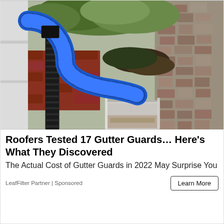[Figure (photo): A blue ribbed flexible hose inserted into a house gutter, cleaning out debris and leaves, with a stone wall visible in the background.]
Roofers Tested 17 Gutter Guards… Here's What They Discovered
The Actual Cost of Gutter Guards in 2022 May Surprise You
LeafFilter Partner | Sponsored
Learn More